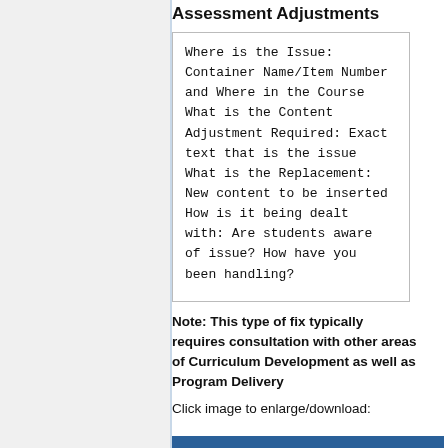Assessment Adjustments
Where is the Issue: Container Name/Item Number and Where in the Course
What is the Content Adjustment Required: Exact text that is the issue
What is the Replacement: New content to be inserted
How is it being dealt with: Are students aware of issue? How have you been handling?
Note: This type of fix typically requires consultation with other areas of Curriculum Development as well as Program Delivery
Click image to enlarge/download: